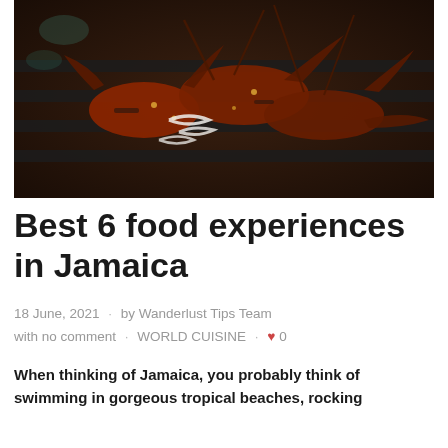[Figure (photo): Overhead close-up photo of grilled lobsters on a dark grill grate, with seasoning and onion rings, dark moody background]
Best 6 food experiences in Jamaica
18 June, 2021 · by Wanderlust Tips Team with no comment · WORLD CUISINE · ♥ 0
When thinking of Jamaica, you probably think of swimming in gorgeous tropical beaches, rocking to...